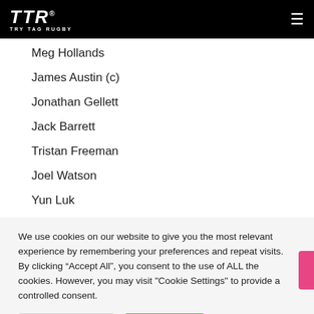TTR TRY TAG RUGBY
Meg Hollands
James Austin (c)
Jonathan Gellett
Jack Barrett
Tristan Freeman
Joel Watson
Yun Luk
We use cookies on our website to give you the most relevant experience by remembering your preferences and repeat visits. By clicking “Accept All”, you consent to the use of ALL the cookies. However, you may visit "Cookie Settings" to provide a controlled consent.